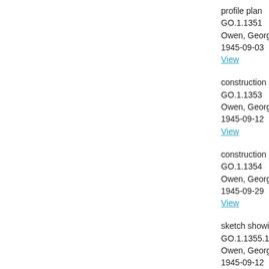profile plan
GO.1.1351
Owen, George
1945-09-03
View
construction de…
GO.1.1353
Owen, George
1945-09-12
View
construction
GO.1.1354
Owen, George
1945-09-29
View
sketch showing…
GO.1.1355.1
Owen, George
1945-09-12
View
lines and offsets…
GO.1.1356